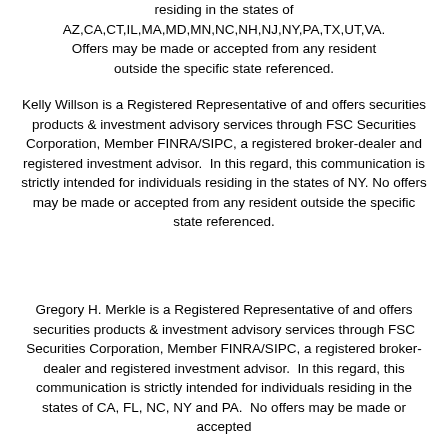residing in the states of AZ,CA,CT,IL,MA,MD,MN,NC,NH,NJ,NY,PA,TX,UT,VA. Offers may be made or accepted from any resident outside the specific state referenced.
Kelly Willson is a Registered Representative of and offers securities products & investment advisory services through FSC Securities Corporation, Member FINRA/SIPC, a registered broker-dealer and registered investment advisor. In this regard, this communication is strictly intended for individuals residing in the states of NY. No offers may be made or accepted from any resident outside the specific state referenced.
Gregory H. Merkle is a Registered Representative of and offers securities products & investment advisory services through FSC Securities Corporation, Member FINRA/SIPC, a registered broker-dealer and registered investment advisor. In this regard, this communication is strictly intended for individuals residing in the states of CA, FL, NC, NY and PA. No offers may be made or accepted